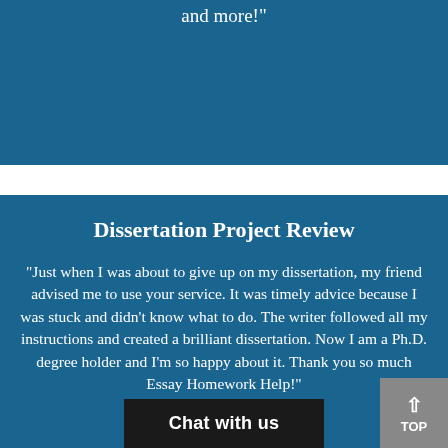and more!"
Dissertation Project Review
"Just when I was about to give up on my dissertation, my friend advised me to use your service. It was timely advice because I was stuck and didn't know what to do. The writer followed all my instructions and created a brilliant dissertation. Now I am a Ph.D. degree holder and I'm so happy about it. Thank you so much Essay Homework Help!"
Chat with us